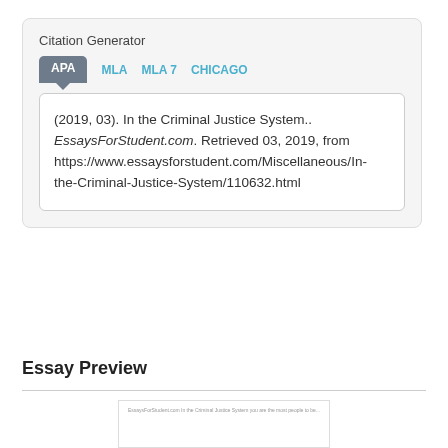Citation Generator
APA  MLA  MLA 7  CHICAGO
(2019, 03). In the Criminal Justice System.. EssaysForStudent.com. Retrieved 03, 2019, from https://www.essaysforstudent.com/Miscellaneous/In-the-Criminal-Justice-System/110632.html
Essay Preview
[Figure (screenshot): Thumbnail preview of essay document page]